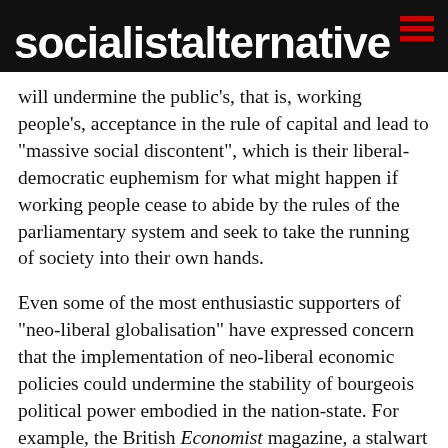socialistalternative
George Soros, worry that "globalisation" and the neo-liberal economic policies promoted and enforced by it will undermine the public's, that is, working people's, acceptance in the rule of capital and lead to "massive social discontent", which is their liberal-democratic euphemism for what might happen if working people cease to abide by the rules of the parliamentary system and seek to take the running of society into their own hands.
Even some of the most enthusiastic supporters of "neo-liberal globalisation" have expressed concern that the implementation of neo-liberal economic policies could undermine the stability of bourgeois political power embodied in the nation-state. For example, the British Economist magazine, a stalwart mouthpiece of the laissez-faire capitalism since it was founded in the early 19th century, commented: